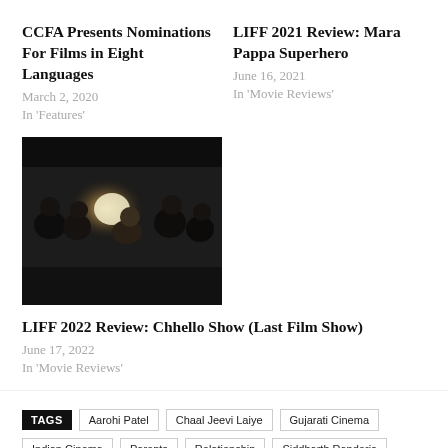CCFA Presents Nominations For Films in Eight Languages
March 2, 2020
In 'Features'
LIFF 2021 Review: Mara Pappa Superhero
June 16, 2021
In 'Movie Reviews'
[Figure (photo): Dark scene with group of people gathered around a bright light source indoors]
LIFF 2022 Review: Chhello Show (Last Film Show)
June 17, 2022
In 'Movie Reviews'
TAGS  Aarohi Patel  Chaal Jeevi Laiye  Gujarati Cinema  Indian Cinema  Parents  Relationship  Siddharth Randeria